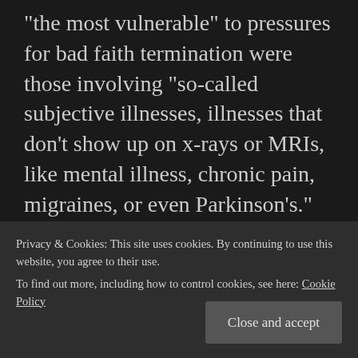“the most vulnerable” to pressures for bad faith termination were those involving “so-called subjective illnesses, illnesses that don’t show up on x-rays or MRIs, like mental illness, chronic pain, migraines, or even Parkinson’s.”
The Dateline story pointed to an internal company email cautioning a group of claims
Privacy & Cookies: This site uses cookies. By continuing to use this website, you agree to their use.
To find out more, including how to control cookies, see here: Cookie Policy
Close and accept
Trust Law as Regulatory Law. The